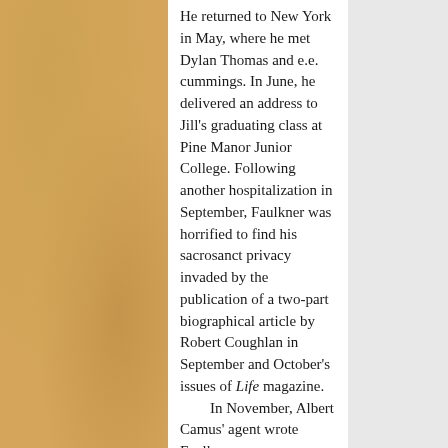He returned to New York in May, where he met Dylan Thomas and e.e. cummings. In June, he delivered an address to Jill's graduating class at Pine Manor Junior College. Following another hospitalization in September, Faulkner was horrified to find his sacrosanct privacy invaded by the publication of a two-part biographical article by Robert Coughlan in September and October's issues of Life magazine.

    In November, Albert Camus' agent wrote Faulkner...